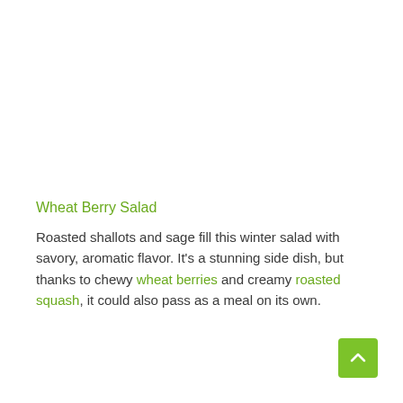Wheat Berry Salad
Roasted shallots and sage fill this winter salad with savory, aromatic flavor. It’s a stunning side dish, but thanks to chewy wheat berries and creamy roasted squash, it could also pass as a meal on its own.